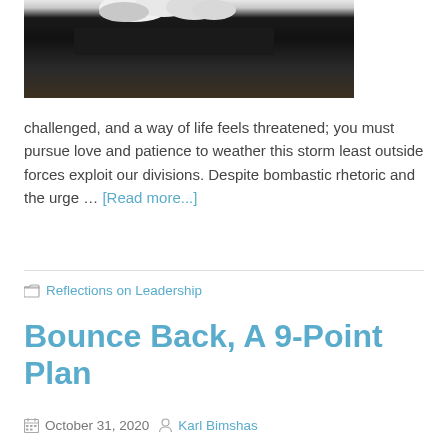[Figure (photo): Partial view of a bald eagle, showing white feathers on top and dark body feathers, with a tan/brown background]
challenged, and a way of life feels threatened; you must pursue love and patience to weather this storm least outside forces exploit our divisions. Despite bombastic rhetoric and the urge … [Read more...]
Reflections on Leadership
Bounce Back, A 9-Point Plan
October 31, 2020  Karl Bimshas